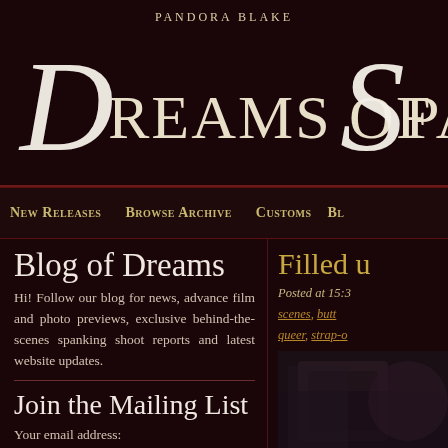[Figure (screenshot): Website header banner for 'Pandora Blake Dreams of Spanking' with dark maroon background and decorative script/serif typography in white and cream]
New Releases   Browse Archive   Customs   Bi...
Blog of Dreams
Hi! Follow our blog for news, advance film and photo previews, exclusive behind-the-scenes spanking shoot reports and latest website updates.
Join the Mailing List
Your email address:
Filled u...
Posted at 15:3...
scenes, butt ... queer, strap-o...
[Figure (photo): Partial photo of a person in dark clothing/corset]